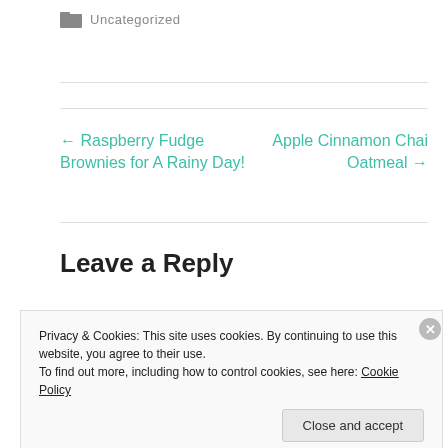Uncategorized
← Raspberry Fudge Brownies for A Rainy Day!
Apple Cinnamon Chai Oatmeal →
Leave a Reply
Privacy & Cookies: This site uses cookies. By continuing to use this website, you agree to their use.
To find out more, including how to control cookies, see here: Cookie Policy
Close and accept